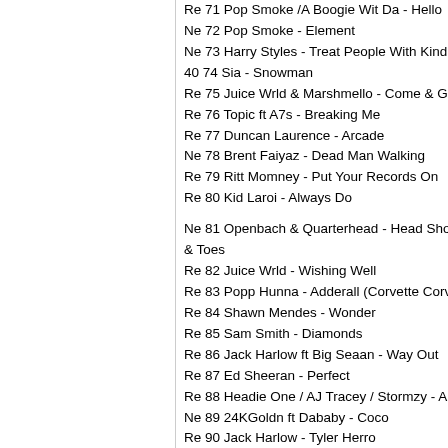Re 71 Pop Smoke /A Boogie Wit Da - Hello
Ne 72 Pop Smoke - Element
Ne 73 Harry Styles - Treat People With Kindness
40 74 Sia - Snowman
Re 75 Juice Wrld & Marshmello - Come & Go
Re 76 Topic ft A7s - Breaking Me
Re 77 Duncan Laurence - Arcade
Ne 78 Brent Faiyaz - Dead Man Walking
Re 79 Ritt Momney - Put Your Records On
Re 80 Kid Laroi - Always Do
Ne 81 Openbach & Quarterhead - Head Shoulders Knees & Toes
Re 82 Juice Wrld - Wishing Well
Re 83 Popp Hunna - Adderall (Corvette Corvette)
Re 84 Shawn Mendes - Wonder
Re 85 Sam Smith - Diamonds
Re 86 Jack Harlow ft Big Seaan - Way Out
Re 87 Ed Sheeran - Perfect
Re 88 Headie One / AJ Tracey / Stormzy - Ain't It Di
Ne 89 24KGoldn ft Dababy - Coco
Re 90 Jack Harlow - Tyler Herro
Re 91 Lewis Capaldi - Bruises